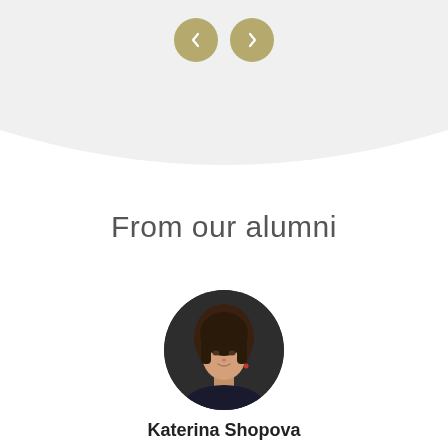[Figure (other): Navigation arrows (prev/next) as circular gold buttons at the top of the page]
From our alumni
[Figure (photo): Circular profile photo of Katerina Shopova, a woman with long brown hair, against a dark background]
Katerina Shopova